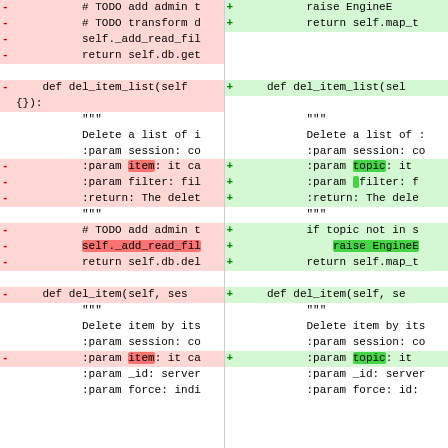[Figure (screenshot): Code diff view showing two columns (removed lines in red on left, added lines in green on right) of Python source code. The diff shows changes to del_item_list and del_item methods, replacing 'item' parameter with 'topic' parameter and replacing self._add_read_fil / self.db.del calls with raise EngineE / return self.map_t calls.]